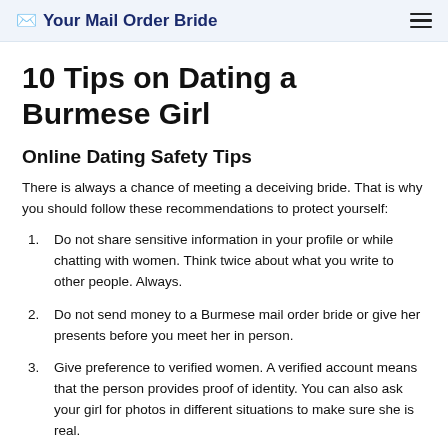Your Mail Order Bride
10 Tips on Dating a Burmese Girl
Online Dating Safety Tips
There is always a chance of meeting a deceiving bride. That is why you should follow these recommendations to protect yourself:
Do not share sensitive information in your profile or while chatting with women. Think twice about what you write to other people. Always.
Do not send money to a Burmese mail order bride or give her presents before you meet her in person.
Give preference to verified women. A verified account means that the person provides proof of identity. You can also ask your girl for photos in different situations to make sure she is real.